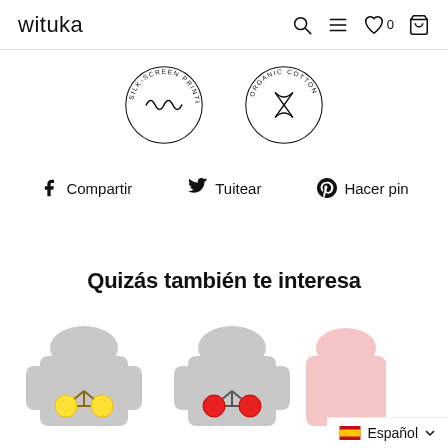wituka
[Figure (illustration): Two circular badge illustrations: left badge reads SILK-SCREEN PRINTING with a sewing/screen-print icon; right badge reads ORGANIC COTTON with scissors icon]
Compartir   Tuitear   Hacer pin
Quizás también te interesa
[Figure (photo): Two grey hooded sweatshirts (hoodies) with bicycle graphic prints - left with yellow/lemon wheels, right with tomato/red wheels - partially visible third product on right edge]
Español